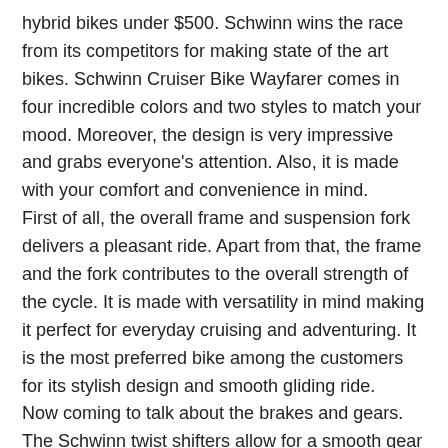hybrid bikes under $500. Schwinn wins the race from its competitors for making state of the art bikes. Schwinn Cruiser Bike Wayfarer comes in four incredible colors and two styles to match your mood. Moreover, the design is very impressive and grabs everyone's attention. Also, it is made with your comfort and convenience in mind.
First of all, the overall frame and suspension fork delivers a pleasant ride. Apart from that, the frame and the fork contributes to the overall strength of the cycle. It is made with versatility in mind making it perfect for everyday cruising and adventuring. It is the most preferred bike among the customers for its stylish design and smooth gliding ride.
Now coming to talk about the brakes and gears. The Schwinn twist shifters allow for a smooth gear change. It has a 7-speed option and comes with rear derailleurs. These Schwinn rear derailleurs also add to the quick and unnoticeable gear change. You will have full control over the speed. Moreover, you will not even notice the gear change as it provides a seamless speed shifting.